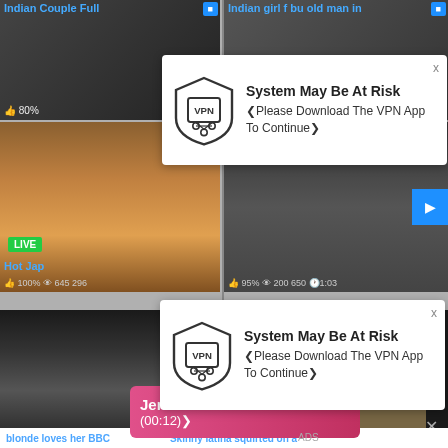[Figure (screenshot): Adult video website screenshot showing video thumbnails, VPN security popup overlays saying 'System May Be At Risk - Please Download The VPN App To Continue', a live chat pink banner for 'Jenifer 2000', and an adult ad with 'WHAT DO YOU WANT? WATCH Online Cumming, ass fucking, squirt or... ADS']
Indian Couple Full
80%
Indian girl f bu old man in
System May Be At Risk
❮Please Download The VPN App To Continue❯
System May Be At Risk
❮Please Download The VPN App To Continue❯
Jenifer 2000
(00:12)❯
Hot Jap
100%
645 296
95%
200 650
1:03
WHAT DO YOU WANT?
WATCH
Online
Cumming, ass fucking, squirt or...
• ADS
blonde loves her BBC
Skinny latina squirted on a
gno.ru